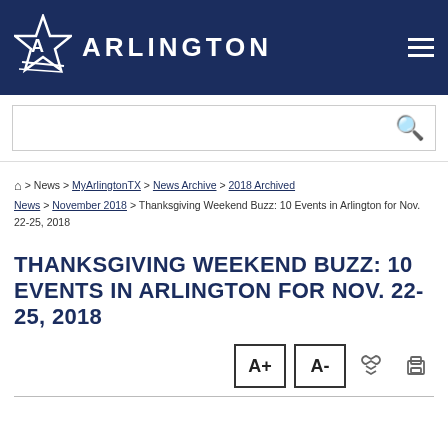Arlington
News > MyArlingtonTX > News Archive > 2018 Archived News > November 2018 > Thanksgiving Weekend Buzz: 10 Events in Arlington for Nov. 22-25, 2018
THANKSGIVING WEEKEND BUZZ: 10 EVENTS IN ARLINGTON FOR NOV. 22-25, 2018